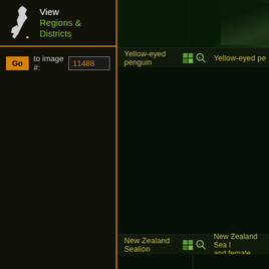[Figure (screenshot): New Zealand wildlife browsing interface. Left panel shows a 'View Regions & Districts' section with a map icon of New Zealand, and a 'Go to image #: 11488' input. Right panel shows a grid of wildlife images including Yellow-eyed penguin, New Zealand Sealion, and Royal Albatross entries with grid and zoom icons.]
View
Regions & Districts
Go
to image #:
11488
Yellow-eyed penguin
Yellow-eyed pe
New Zealand Sealion
New Zealand Sea l and female
Royal Albatross
Royal Albatro